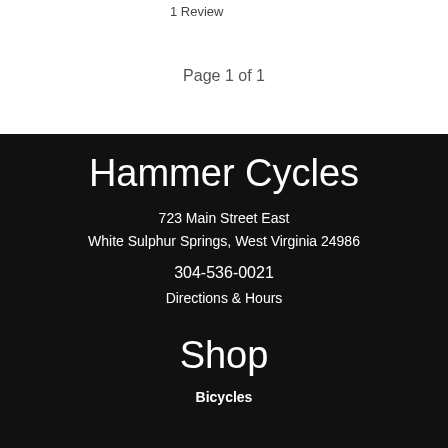1 Review
Page 1 of 1
Hammer Cycles
723 Main Street East
White Sulphur Springs, West Virginia 24986
304-536-0021
Directions & Hours
Shop
Bicycles